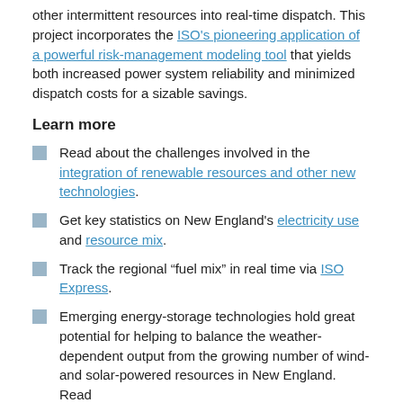other intermittent resources into real-time dispatch. This project incorporates the ISO's pioneering application of a powerful risk-management modeling tool that yields both increased power system reliability and minimized dispatch costs for a sizable savings.
Learn more
Read about the challenges involved in the integration of renewable resources and other new technologies.
Get key statistics on New England's electricity use and resource mix.
Track the regional “fuel mix” in real time via ISO Express.
Emerging energy-storage technologies hold great potential for helping to balance the weather-dependent output from the growing number of wind- and solar-powered resources in New England. Read